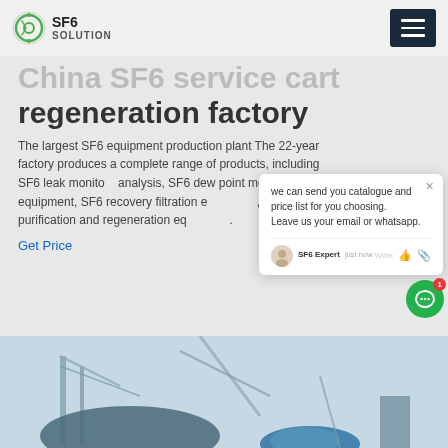SF6 SOLUTION
China SF6 service cart regeneration factory
The largest SF6 equipment production plant The 22-year factory produces a complete range of products, including SF6 leak monitor, SF6 gas analysis, SF6 dew point meter, SF6 equipment, SF6 recovery filtration equipment, SF6 purification and regeneration equipment.
Get Price
[Figure (screenshot): Chat popup overlay showing message: we can send you catalogue and price list for you choosing. Leave us your email or whatsapp. SF6 Expert just now. Write field with thumbs up and attachment icons.]
[Figure (photo): Bottom portion of industrial SF6 equipment photo showing machinery and blue sky background.]